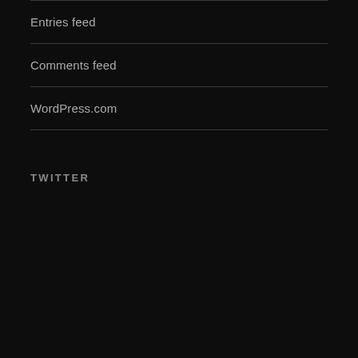Entries feed
Comments feed
WordPress.com
TWITTER